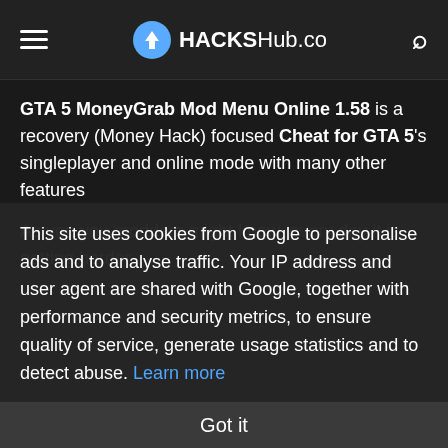HACKSHub.co
GTA 5 MoneyGrab Mod Menu Online 1.58 is a recovery (Money Hack) focused Cheat for GTA 5's singleplayer and online mode with many other features
As you you modders might know, every day it is getting harder
This site uses cookies from Google to personalise ads and to analyse traffic. Your IP address and user agent are shared with Google, together with performance and security metrics, to ensure quality of service, generate usage statistics and to detect abuse. Learn more
Got it